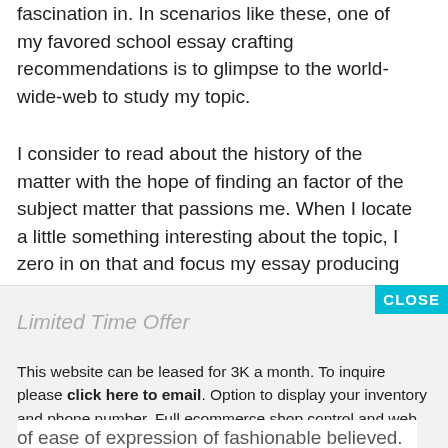fascination in. In scenarios like these, one of my favored school essay crafting recommendations is to glimpse to the world-wide-web to study my topic.
I consider to read about the history of the matter with the hope of finding an factor of the subject matter that passions me. When I locate a little something interesting about the topic, I zero in on that and focus my essay producing on that component. It does assist
Limited Time Offer
This website can be leased for 3K a month. To inquire please click here to email. Option to display your inventory and phone number. Full ecommerce shop control and web hosting included.
of ease of expression of fashionable believed.